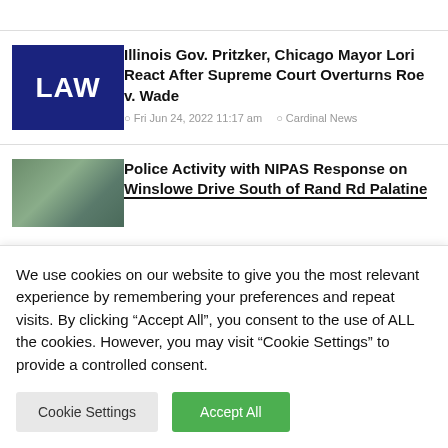[Figure (illustration): Blue rectangle with white bold text 'LAW' — thumbnail for law article]
Illinois Gov. Pritzker, Chicago Mayor Lori React After Supreme Court Overturns Roe v. Wade
Fri Jun 24, 2022 11:17 am   Cardinal News
[Figure (photo): Outdoor scene photo thumbnail — partially visible, appears to show trees or a road]
Police Activity with NIPAS Response on Winslowe Drive South of Rand Rd Palatine
We use cookies on our website to give you the most relevant experience by remembering your preferences and repeat visits. By clicking “Accept All”, you consent to the use of ALL the cookies. However, you may visit “Cookie Settings” to provide a controlled consent.
Cookie Settings   Accept All